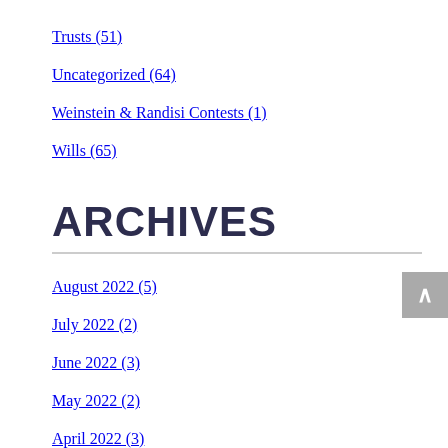Trusts (51)
Uncategorized (64)
Weinstein & Randisi Contests (1)
Wills (65)
ARCHIVES
August 2022 (5)
July 2022 (2)
June 2022 (3)
May 2022 (2)
April 2022 (3)
March 2022 (3)